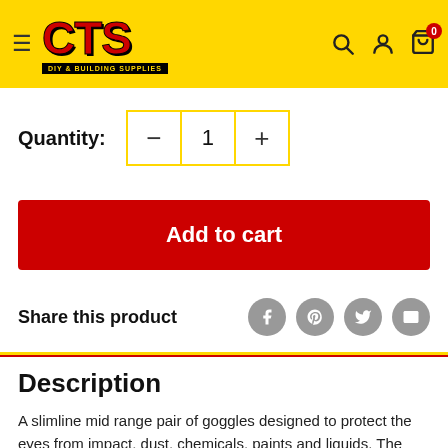[Figure (logo): CTS DIY & Building Supplies logo on yellow background with hamburger menu, search, account and cart icons]
Quantity: 1
Add to cart
Share this product
Description
A slimline mid range pair of goggles designed to protect the eyes from impact, dust, chemicals, paints and liquids. The